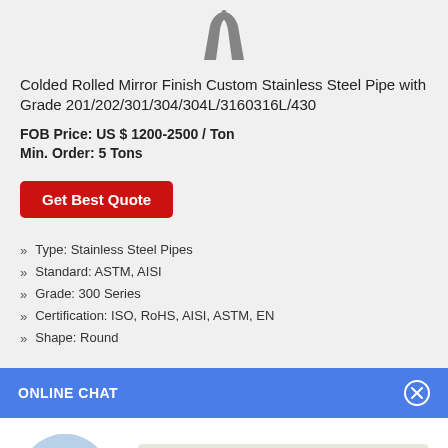[Figure (photo): Partial view of stainless steel pipe product image at top]
Colded Rolled Mirror Finish Custom Stainless Steel Pipe with Grade 201/202/301/304/304L/3160316L/430
FOB Price: US $ 1200-2500 / Ton
Min. Order: 5 Tons
Get Best Quote
Type: Stainless Steel Pipes
Standard: ASTM, AISI
Grade: 300 Series
Certification: ISO, RoHS, AISI, ASTM, EN
Shape: Round
ONLINE CHAT
[Figure (photo): Chat avatar photo of woman named Cilina]
Hi,welcome to visit our website.